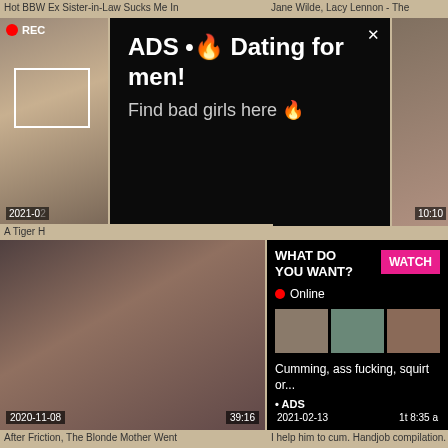Hot BBW Ex Sister-in-Law Sucks Me In
Jane Wilde, Lacy Lennon - The
[Figure (screenshot): Video thumbnail with REC indicator and focus box overlay, showing selfie-style photo]
[Figure (screenshot): Ad overlay on dark background: ADS • 🔥 Dating for men! Find bad girls here 🔥]
[Figure (screenshot): Partial video thumbnail on right side, timestamp 10:10]
A Tiger H
[Figure (screenshot): Video thumbnail showing woman, date 2020-11-08, duration 39:16]
[Figure (screenshot): Ad overlay: WHAT DO YOU WANT? WATCH button, Online indicator, thumbnail images, Cumming, ass fucking, squirt or... • ADS, date 2021-02-13]
After Friction, The Blonde Mother Went
I help him to cum. Handjob compilation.
[Figure (screenshot): Bottom left thumbnail - close up face]
[Figure (screenshot): Bottom right thumbnail - woman]